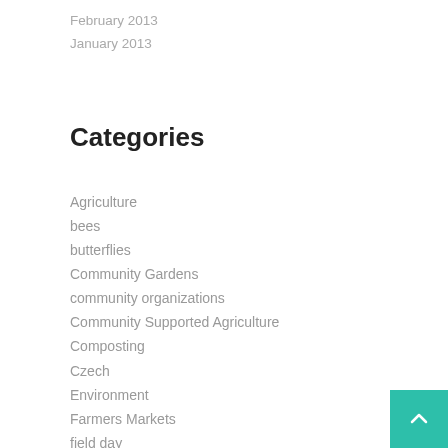February 2013
January 2013
Categories
Agriculture
bees
butterflies
Community Gardens
community organizations
Community Supported Agriculture
Composting
Czech
Environment
Farmers Markets
field day
Flooding
gardening
health
historic architecture